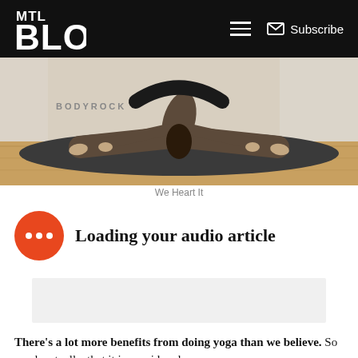MTL Blog — Subscribe
[Figure (photo): Woman doing a wide-legged forward fold yoga pose on a dark yoga mat on a wooden floor, hands flat on the mat, dark hair hanging down. Studio/gym setting with natural light from windows.]
We Heart It
Loading your audio article
[Figure (other): Advertisement placeholder block (light gray rectangle)]
There's a lot more benefits from doing yoga than we believe. So much actually, that it is considered as